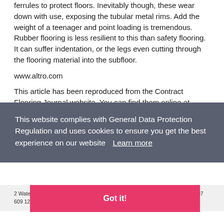ferrules to protect floors. Inevitably though, these wear down with use, exposing the tubular metal rims. Add the weight of a teenager and point loading is tremendous. Rubber flooring is less resilient to this than safety flooring. It can suffer indentation, or the legs even cutting through the flooring material into the subfloor.
www.altro.com
This article has been reproduced from the Contract Flooring Journal website. You can find them online at www.contractflooringjournal.co.uk.
This website complies with General Data Protection Regulation and uses cookies to ensure you get the best experience on our website  Learn more
Got it!
2 Waterloo Gardens, Milner Square, Barnsbury Street, London, N1 1TY, Tel: 0207 609 1234 :: @2013 theflooringgroup :: All Rights reserved :: Designed by